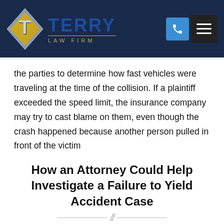[Figure (logo): Terry Law Firm logo with gold diamond shape and blue text on dark navy header background, with phone icon button and hamburger menu button]
the parties to determine how fast vehicles were traveling at the time of the collision. If a plaintiff exceeded the speed limit, the insurance company may try to cast blame on them, even though the crash happened because another person pulled in front of the victim
How an Attorney Could Help Investigate a Failure to Yield Accident Case
Determining fault is generally done by using witnesses to testify about what they saw. When the accident takes place in a more urban area, it may be possible to obtain the video or